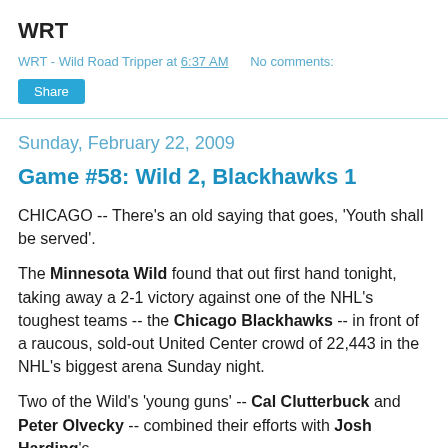WRT
WRT - Wild Road Tripper at 6:37 AM    No comments:
Share
Sunday, February 22, 2009
Game #58: Wild 2, Blackhawks 1
CHICAGO -- There's an old saying that goes, 'Youth shall be served'.
The Minnesota Wild found that out first hand tonight, taking away a 2-1 victory against one of the NHL's toughest teams -- the Chicago Blackhawks -- in front of a raucous, sold-out United Center crowd of 22,443 in the NHL's biggest arena Sunday night.
Two of the Wild's 'young guns' -- Cal Clutterbuck and Peter Olvecky -- combined their efforts with Josh Harding's